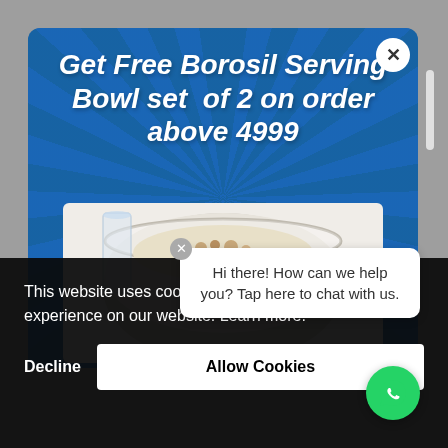[Figure (screenshot): Blue promotional modal popup showing 'Get Free Borosil Serving Bowl set of 2 on order above 4999' with a glass bowl filled with food, on a blue ray-burst background. Has a white circular X close button in the top right.]
This website uses cookies to ensure you get the best experience on our website. Learn more.
[Figure (screenshot): WhatsApp chat popup saying 'Hi there! How can we help you? Tap here to chat with us.' with a close X button and green WhatsApp icon button.]
Decline
Allow Cookies